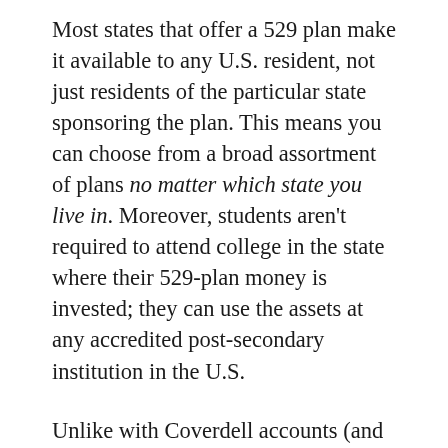Most states that offer a 529 plan make it available to any U.S. resident, not just residents of the particular state sponsoring the plan. This means you can choose from a broad assortment of plans no matter which state you live in. Moreover, students aren't required to attend college in the state where their 529-plan money is invested; they can use the assets at any accredited post-secondary institution in the U.S.
Unlike with Coverdell accounts (and Roth IRAs), Congress didn't create an income limitation for 529 plan contributors. This makes 529s a natural choice for high-income college savers. In addition, while Coverdell ESAs have an annual $2,000 ceiling on contributions, with a 529 plan an individual can contribute up to $14,000 per